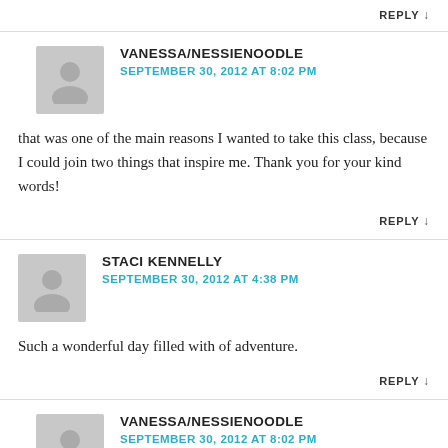REPLY ↓
VANESSA/NESSIENOODLE
SEPTEMBER 30, 2012 AT 8:02 PM
that was one of the main reasons I wanted to take this class, because I could join two things that inspire me. Thank you for your kind words!
REPLY ↓
STACI KENNELLY
SEPTEMBER 30, 2012 AT 4:38 PM
Such a wonderful day filled with of adventure.
REPLY ↓
VANESSA/NESSIENOODLE
SEPTEMBER 30, 2012 AT 8:02 PM